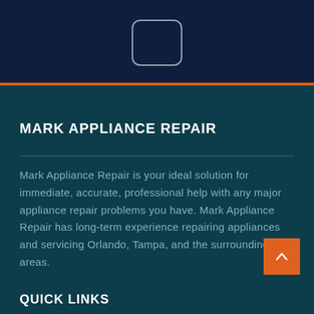[Figure (logo): Rounded rectangle logo placeholder in header]
MARK APPLIANCE REPAIR
Mark Appliance Repair is your ideal solution for immediate, accurate, professional help with any major appliance repair problems you have. Mark Appliance Repair has long-term experience repairing appliances and servicing Orlando, Tampa, and the surrounding areas.
QUICK LINKS